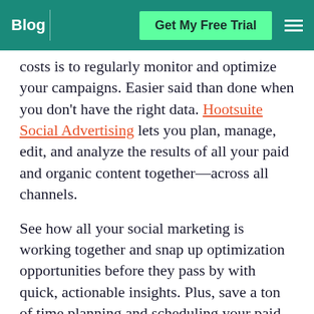Blog | Get My Free Trial
costs is to regularly monitor and optimize your campaigns. Easier said than done when you don't have the right data. Hootsuite Social Advertising lets you plan, manage, edit, and analyze the results of all your paid and organic content together—across all channels.
See how all your social marketing is working together and snap up optimization opportunities before they pass by with quick, actionable insights. Plus, save a ton of time planning and scheduling your paid and organic content in one space.